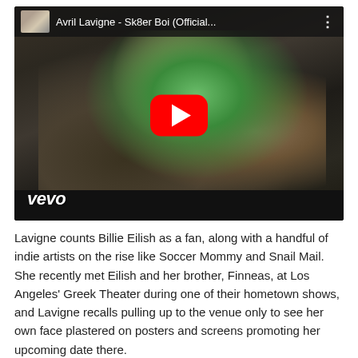[Figure (screenshot): YouTube video player screenshot showing Avril Lavigne - Sk8er Boi (Official...) with a red play button overlay in the center, vevo logo bottom left, and a small thumbnail with title in the top bar. The video still shows a person in a green shirt in a dark grungy setting.]
Lavigne counts Billie Eilish as a fan, along with a handful of indie artists on the rise like Soccer Mommy and Snail Mail. She recently met Eilish and her brother, Finneas, at Los Angeles' Greek Theater during one of their hometown shows, and Lavigne recalls pulling up to the venue only to see her own face plastered on posters and screens promoting her upcoming date there.